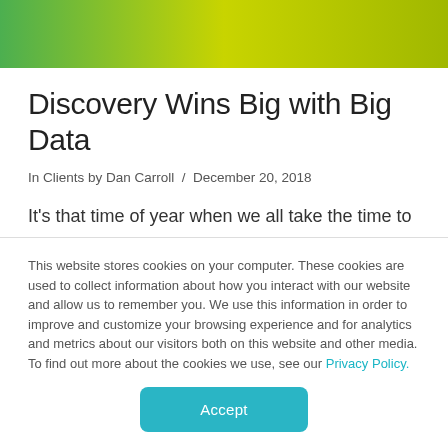[Figure (illustration): Green gradient header banner spanning the top of the page]
Discovery Wins Big with Big Data
In Clients by Dan Carroll / December 20, 2018
It's that time of year when we all take the time to reflect and acknowledge what we are grateful for. At AdPredictive, we are particularly grateful for our
This website stores cookies on your computer. These cookies are used to collect information about how you interact with our website and allow us to remember you. We use this information in order to improve and customize your browsing experience and for analytics and metrics about our visitors both on this website and other media. To find out more about the cookies we use, see our Privacy Policy.
Accept